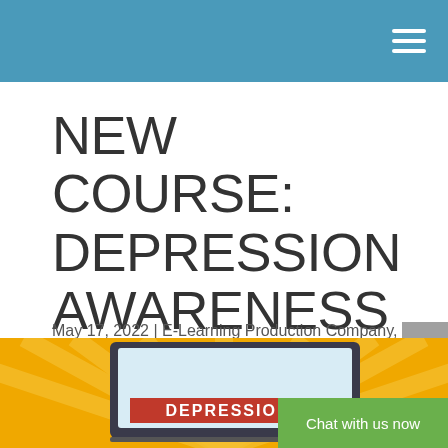NEW COURSE: DEPRESSION AWARENESS
May 17, 2022 | E-Learning Production Company, VideoTile Learning, E-Learning Production
[Figure (screenshot): Screenshot of a laptop showing a Depression Awareness e-learning course with a banner reading DEPRESSION on a yellow sunburst background]
Chat with us now